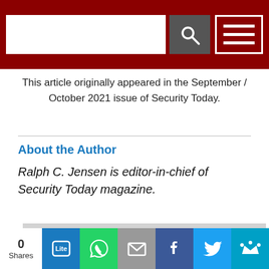[Navigation bar with search input, search button, and menu button]
This article originally appeared in the September / October 2021 issue of Security Today.
About the Author
Ralph C. Jensen is editor-in-chief of Security Today magazine.
[Figure (other): Gray placeholder image block]
0 Shares | Social share buttons: Line, WhatsApp, Email, Facebook, Twitter, Crown